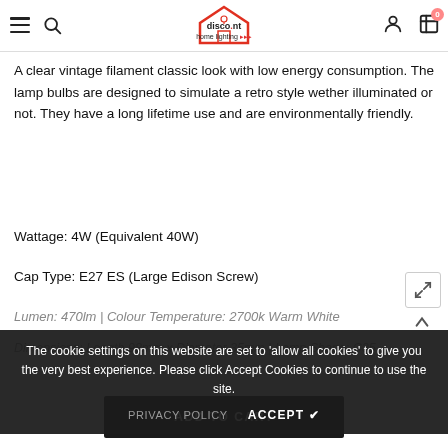Discount Home Lighting — navigation header with hamburger, search, logo, account, cart (0)
A clear vintage filament classic look with low energy consumption. The lamp bulbs are designed to simulate a retro style wether illuminated or not. They have a long lifetime use and are environmentally friendly.
Wattage: 4W (Equivalent 40W)
Cap Type: E27 ES (Large Edison Screw)
Lumen: 470lm | Colour Temperature: 2700k Warm White
Dimensions: Length 98mm x Diameter 35mm | Lamp Shape: C35
The cookie settings on this website are set to 'allow all cookies' to give you the very best experience. Please click Accept Cookies to continue to use the site.
PRIVACY POLICY   ACCEPT ✔
ADD TO CART